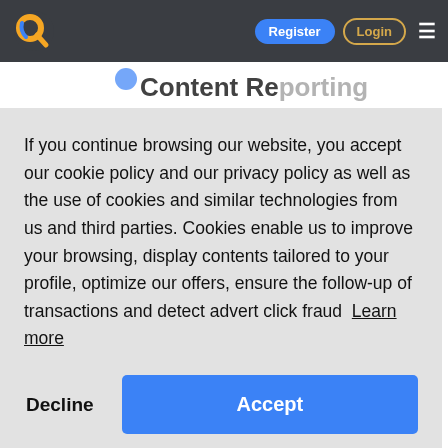Register | Login
If you continue browsing our website, you accept our cookie policy and our privacy policy as well as the use of cookies and similar technologies from us and third parties. Cookies enable us to improve your browsing, display contents tailored to your profile, optimize our offers, ensure the follow-up of transactions and detect advert click fraud  Learn more
Decline | Accept
The best part? If your marketing strategy is on